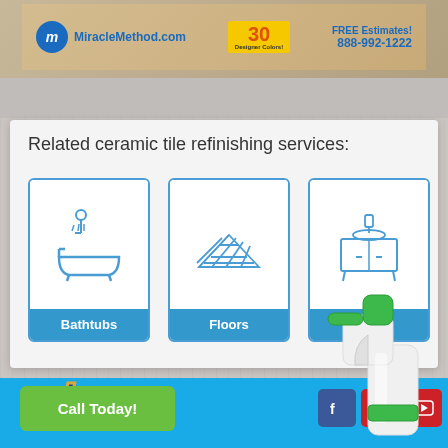[Figure (photo): Top advertisement banner for MiracleMethod.com showing logo, '30 Designer Colors' badge, and 'FREE Estimates! 888-992-1222' text over a tile/bathroom background]
Related ceramic tile refinishing services:
[Figure (infographic): Three service boxes with blue borders: Bathtubs (bathtub with showerhead icon), Floors (tile grid icon), Vanities (vanity cabinet icon), each with blue label bar]
[Figure (photo): Blue section at bottom with spray bottle image on right, stylized logo text, Call Today button, and Facebook/Pinterest/YouTube social media icons]